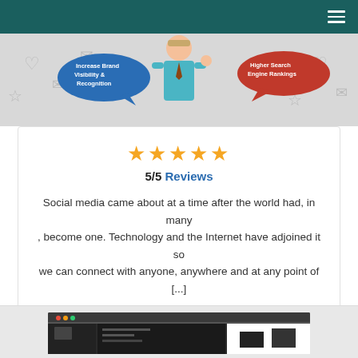Navigation bar with hamburger menu
[Figure (illustration): Banner illustration of a businessman with speech bubbles: 'Increase Brand Visibility & Recognition' and 'Higher Search Engine Rankings', with social media icons in background]
★★★★★
5/5 Reviews
Social media came about at a time after the world had, in many , become one. Technology and the Internet have adjoined it so we can connect with anyone, anywhere and at any point of [...]
$ $
Learn More >
[Figure (screenshot): Screenshot of a software/design application interface with dark theme]